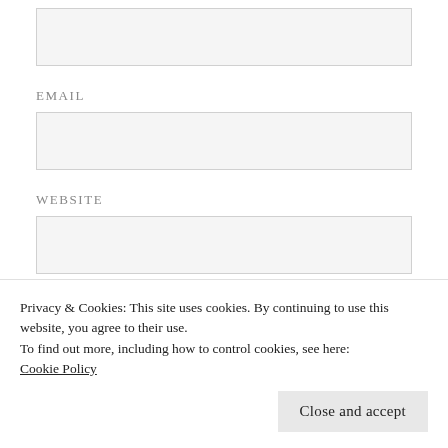[Figure (screenshot): A web form with two labeled text input fields (EMAIL, WEBSITE) and a partially visible POST COMMENT button, overlaid by a cookie consent banner at the bottom.]
EMAIL
WEBSITE
POST COMMENT
Privacy & Cookies: This site uses cookies. By continuing to use this website, you agree to their use.
To find out more, including how to control cookies, see here:
Cookie Policy
Close and accept